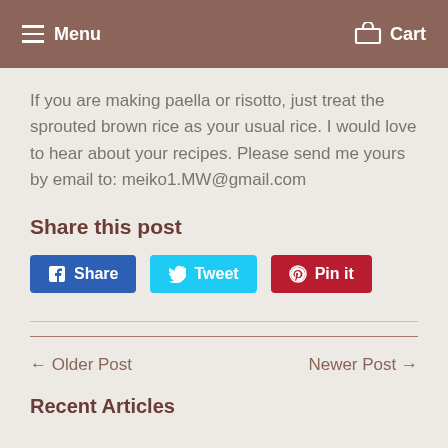Menu   Cart
If you are making paella or risotto, just treat the sprouted brown rice as your usual rice. I would love to hear about your recipes. Please send me yours by email to: meiko1.MW@gmail.com
Share this post
Share  Tweet  Pin it
← Older Post
Newer Post →
Recent Articles